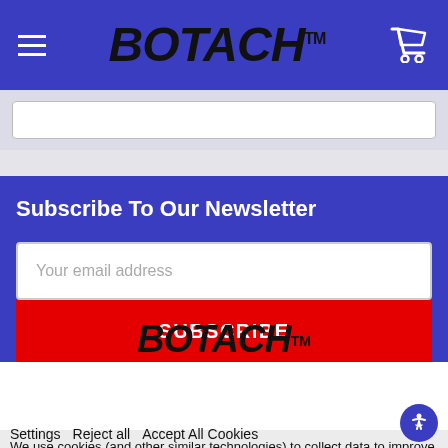BOTACH™
Subscribe To Our Newsletter
Your email address
SUBSCRIBE
We use cookies (and other similar technologies) to collect data to improve your shopping experience. By using our website, you're agreeing to the collection of data as described in our Privacy Policy.
[Figure (logo): BOTACH™ logo in black bold italic text]
Settings   Reject all   Accept All Cookies